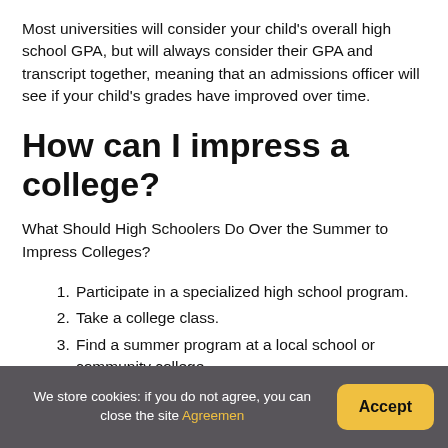Most universities will consider your child's overall high school GPA, but will always consider their GPA and transcript together, meaning that an admissions officer will see if your child's grades have improved over time.
How can I impress a college?
What Should High Schoolers Do Over the Summer to Impress Colleges?
Participate in a specialized high school program.
Take a college class.
Find a summer program at a local school or community college.
Get involved with research.
We store cookies: if you do not agree, you can close the site Agreement